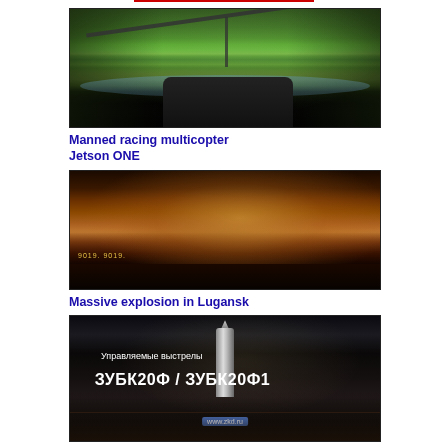[Figure (screenshot): Video thumbnail showing first-person view from a manned multicopter flying over a river and green landscape]
Manned racing multicopter Jetson ONE
[Figure (screenshot): Video thumbnail showing a massive explosion in Lugansk at night, orange glow in the sky]
Massive explosion in Lugansk
[Figure (screenshot): Video thumbnail showing Russian military guided ammunition ЗУБК20Ф / ЗУБК20Ф1 (ZUBK20F / ZUBK20F1) with text in Russian: Управляемые выстрелы (Guided shots) and www.zkd.ru]